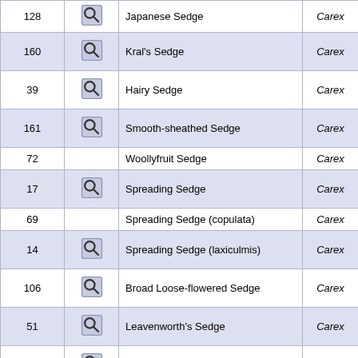| # |  | Common Name | Genus |
| --- | --- | --- | --- |
| 128 | Q | Japanese Sedge | Carex |
| 160 | Q | Kral's Sedge | Carex |
| 39 | Q | Hairy Sedge | Carex |
| 161 | Q | Smooth-sheathed Sedge | Carex |
| 72 |  | Woollyfruit Sedge | Carex |
| 17 | Q | Spreading Sedge | Carex |
| 69 |  | Spreading Sedge (copulata) | Carex |
| 14 | Q | Spreading Sedge (laxiculmis) | Carex |
| 106 | Q | Broad Loose-flowered Sedge | Carex |
| 51 | Q | Leavenworth's Sedge | Carex |
| 140 | Q | Bristly-stalked Sedge | Carex |
| 103 |  | Harper's Bristly-stalked Sedge | Carex |
| 48 |  | Bristly-stalked Sedge (leptalea) | Carex |
| 85 |  | Nerveless Woodland Sedge | Carex |
| 173 | Q | Southern Long Sedge | Carex |
| 117 | Q | Long's Sedge | Carex |
| 27 | Q | Louisiana Sedge | Carex |